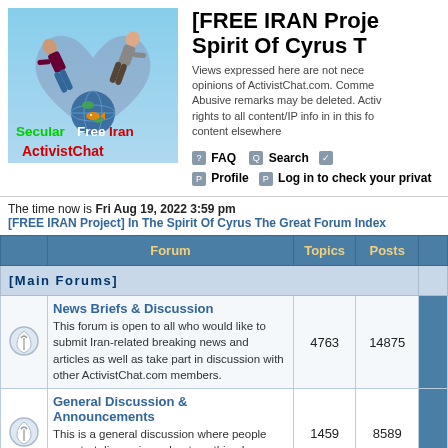[Figure (illustration): Secular Free Iran ActivistChat logo with two figures and globe with fish, text overlay 'Secular Free Iran' in green and 'ActivistChat' in red]
[FREE IRAN Project] In The Spirit Of Cyrus The Great
Views expressed here are not necessarily the opinions of ActivistChat.com. Comments may be Abusive remarks may be deleted. ActivistChat.com rights to all content/IP info in in this forum. Distribute content elsewhere
FAQ  Search
Profile  Log in to check your private messages
The time now is Fri Aug 19, 2022 3:59 pm
[FREE IRAN Project] In The Spirit Of Cyrus The Great Forum Index
| Forum | Topics | Posts |  |
| --- | --- | --- | --- |
| [Main Forums] |  |  |  |
| News Briefs & Discussion
This forum is open to all who would like to submit Iran-related breaking news and articles as well as take part in discussion with other ActivistChat.com members. | 4763 | 14875 |  |
| General Discussion & Announcements
This is a general discussion where people can start discussions about anything Iran-related. We also | 1459 | 8589 |  |